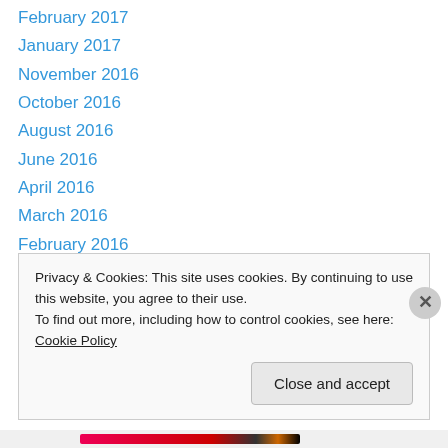February 2017
January 2017
November 2016
October 2016
August 2016
June 2016
April 2016
March 2016
February 2016
January 2016
December 2015
November 2015
October 2015
Privacy & Cookies: This site uses cookies. By continuing to use this website, you agree to their use.
To find out more, including how to control cookies, see here: Cookie Policy
Close and accept